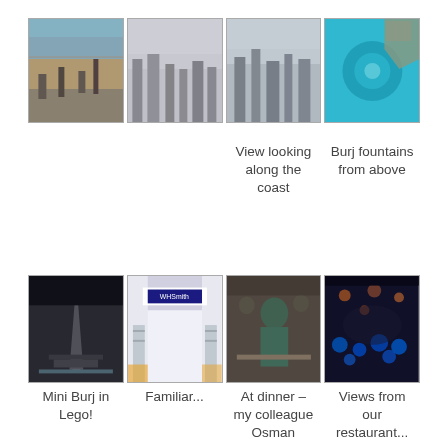[Figure (photo): Four aerial photos in a row: view of coastline from skyscraper, city skyline from above, city buildings from above, aerial view of Burj fountains with turquoise water]
View looking along the coast
Burj fountains from above
[Figure (photo): Four photos in a row: Mini Burj Khalifa in Lego display, WHSmith store interior, man at dinner (Osman), restaurant views at night with blue lights]
Mini Burj in Lego!
Familiar...
At dinner – my colleague Osman
Views from our restaurant...